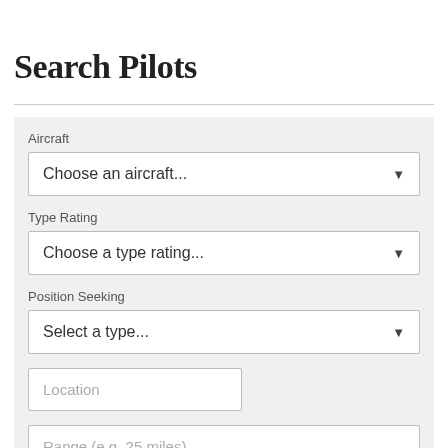Search Pilots
Aircraft
Choose an aircraft...
Type Rating
Choose a type rating...
Position Seeking
Select a type...
Location
Range (e.g. 25 miles)